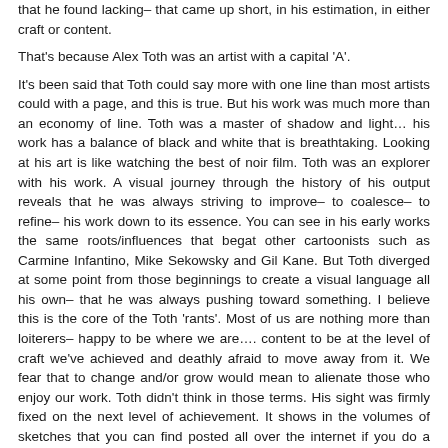that he found lacking– that came up short, in his estimation, in either craft or content.
That's because Alex Toth was an artist with a capital 'A'.
It's been said that Toth could say more with one line than most artists could with a page, and this is true. But his work was much more than an economy of line. Toth was a master of shadow and light… his work has a balance of black and white that is breathtaking. Looking at his art is like watching the best of noir film. Toth was an explorer with his work. A visual journey through the history of his output reveals that he was always striving to improve– to coalesce– to refine– his work down to its essence. You can see in his early works the same roots/influences that begat other cartoonists such as Carmine Infantino, Mike Sekowsky and Gil Kane. But Toth diverged at some point from those beginnings to create a visual language all his own– that he was always pushing toward something. I believe this is the core of the Toth 'rants'. Most of us are nothing more than loiterers– happy to be where we are…. content to be at the level of craft we've achieved and deathly afraid to move away from it. We fear that to change and/or grow would mean to alienate those who enjoy our work. Toth didn't think in those terms. His sight was firmly fixed on the next level of achievement. It shows in the volumes of sketches that you can find posted all over the internet if you do a search on his name and wonderfully, you'll also be able to own when DEAR JOHN– THE ALEX TOTH BOOK is released in September by OCTOPUS PRESS– Jeff Parker's publishing house. He was ever drawing– always sketching. I am reminded of something that Donald Lehn– a teacher of mine in art school– told me once during a conversation we were having. He related a story about Michaelangelo, on his death-bed, struggling with a little piece of work– still obsessed– even at the end– with his quest for perfection. With Toth's recent passing– perhaps he felt that his time was short, I don't know. But the idea that he passed away at his drawing table, still working– still searching for that thing that the true, obsessed artist always searches for– is something that doesn't surprise me.
He was an Artist.
You can find several books on Toth and his work if you search the web for them. Here are four that I own and cherish:
TOTH: BLACK AND WHITE